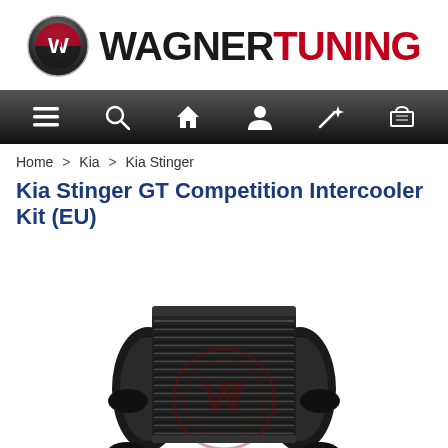[Figure (logo): Wagner Tuning logo with circular WT emblem and brand name in black and red]
[Figure (screenshot): Navigation bar with icons: hamburger menu, search, home, user, wand/magic, cart]
Home > Kia > Kia Stinger
Kia Stinger GT Competition Intercooler Kit (EU)
[Figure (photo): Product photo of a Wagner Tuning intercooler kit for Kia Stinger GT, showing black intercooler core with end tanks and piping, with Wagner Tuning watermark]